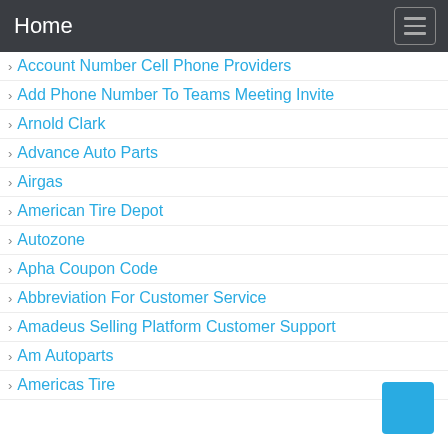Home
Account Number Cell Phone Providers
Add Phone Number To Teams Meeting Invite
Arnold Clark
Advance Auto Parts
Airgas
American Tire Depot
Autozone
Apha Coupon Code
Abbreviation For Customer Service
Amadeus Selling Platform Customer Support
Am Autoparts
Americas Tire